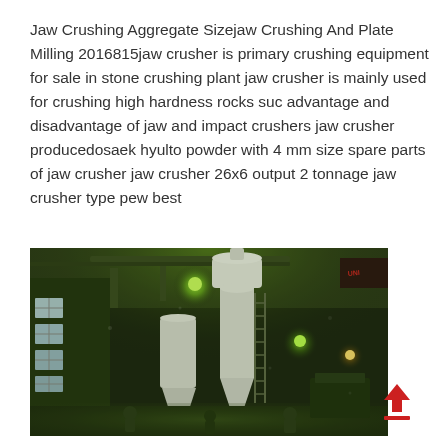Jaw Crushing Aggregate Sizejaw Crushing And Plate Milling 2016815jaw crusher is primary crushing equipment for sale in stone crushing plant jaw crusher is mainly used for crushing high hardness rocks suc advantage and disadvantage of jaw and impact crushers jaw crusher producedosaek hyulto powder with 4 mm size spare parts of jaw crusher jaw crusher 26x6 output 2 tonnage jaw crusher type pew best
[Figure (photo): Industrial interior photo showing large milling/crushing machinery with white cylindrical silos/cyclone separators, ladders, and workers on the floor. The building interior is lit with green-tinted overhead lighting. Windows visible on the left wall.]